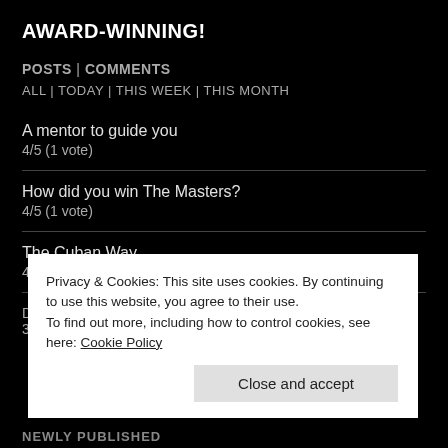AWARD-WINNING!
POSTS | COMMENTS
ALL | TODAY | THIS WEEK | THIS MONTH
A mentor to guide you
4/5 (1 vote)
How did you win The Masters?
4/5 (1 vote)
The Cuban Way
4/5 (3 votes)
Privacy & Cookies: This site uses cookies. By continuing to use this website, you agree to their use.
To find out more, including how to control cookies, see here: Cookie Policy
Close and accept
NEWLY PUBLISHED